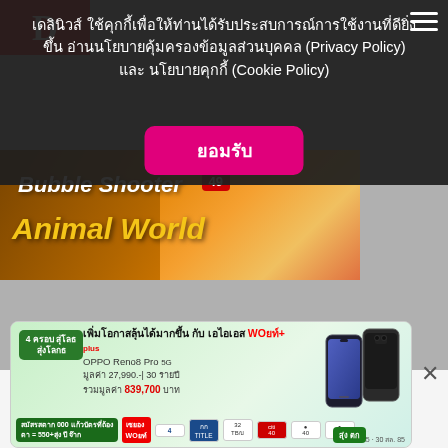เดลินิวส์ ใช้คุกกี้เพื่อให้ท่านได้รับประสบการณ์การใช้งานที่ดียิ่งขึ้น อ่านนโยบายคุ้มครองข้อมูลส่วนบุคคล (Privacy Policy) และ นโยบายคุกกี้ (Cookie Policy)
[Figure (screenshot): Cookie consent overlay button labeled ยอมรับ (Accept) in pink/magenta on dark overlay]
[Figure (screenshot): Game app banner showing Bubble Shooter Animal World game artwork with yellow text on dark orange/brown background]
[Figure (screenshot): Bottom advertisement banner for AIS WOW+ plan featuring OPPO Reno8 Pro 5G smartphone, green background, price 27,990 baht, accumulated value 839,700 baht]